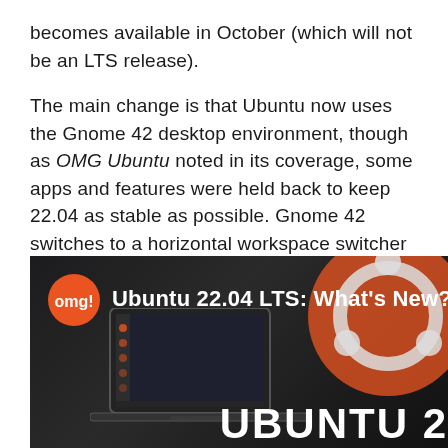becomes available in October (which will not be an LTS release).
The main change is that Ubuntu now uses the Gnome 42 desktop environment, though as OMG Ubuntu noted in its coverage, some apps and features were held back to keep 22.04 as stable as possible. Gnome 42 switches to a horizontal workspace switcher and app launcher, similar to Windows 11 and macOS, and there are some new touchpad gestures for moving between workspaces and windows. Canonical, the developers of Ubuntu, says the new update “can double the desktop frame rate on Intel and Raspberry Pi” systems compared to the last version.
[Figure (screenshot): OMG Ubuntu video thumbnail showing 'Ubuntu 22.04 LTS: What's New?' with the OMG logo, a laptop displaying Ubuntu desktop, and Ubuntu branding in the background.]